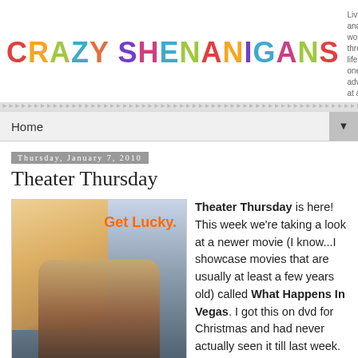CRAZY SHENANIGANS — Living and working through life, one crazy adventure at a time.
Home
Thursday, January 7, 2010
Theater Thursday
[Figure (photo): Movie poster for What Happens In Vegas featuring Cameron Diaz and Ashton Kutcher with text 'Get Lucky.' and 'Cameron & Ashton what happens in']
Theater Thursday is here! This week we're taking a look at a newer movie (I know...I showcase movies that are usually at least a few years old) called What Happens In Vegas. I got this on dvd for Christmas and had never actually seen it till last week. I was pleasantly surprised. Maybe it's because I've been